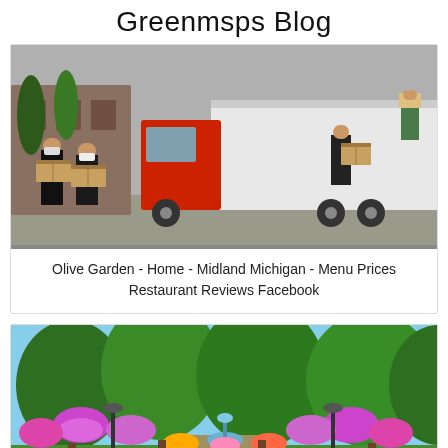Greenmsps Blog
[Figure (photo): People in black uniforms and masks carrying cardboard boxes near a moving truck]
Olive Garden - Home - Midland Michigan - Menu Prices Restaurant Reviews Facebook
[Figure (photo): Colorful garden with hanging flower baskets, trees, and a fountain; a dark blue CLOSE X button overlay at the bottom center]